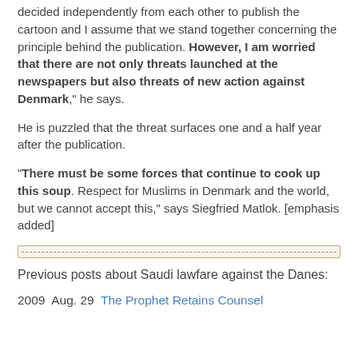decided independently from each other to publish the cartoon and I assume that we stand together concerning the principle behind the publication. However, I am worried that there are not only threats launched at the newspapers but also threats of new action against Denmark," he says.
He is puzzled that the threat surfaces one and a half year after the publication.
“There must be some forces that continue to cook up this soup. Respect for Muslims in Denmark and the world, but we cannot accept this,” says Siegfried Matlok. [emphasis added]
[Figure (other): Decorative dashed horizontal divider line inside a bordered box]
Previous posts about Saudi lawfare against the Danes:
2009  Aug. 29  The Prophet Retains Counsel